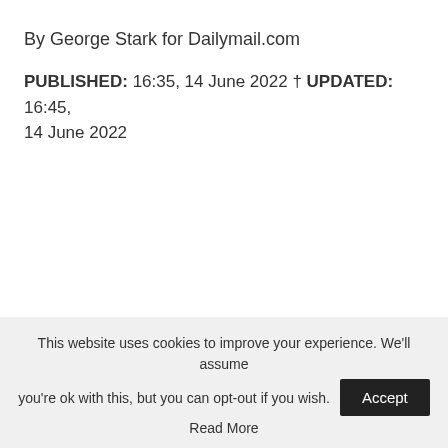By George Stark for Dailymail.com
PUBLISHED: 16:35, 14 June 2022 † UPDATED: 16:45, 14 June 2022
This website uses cookies to improve your experience. We'll assume you're ok with this, but you can opt-out if you wish. Accept Read More